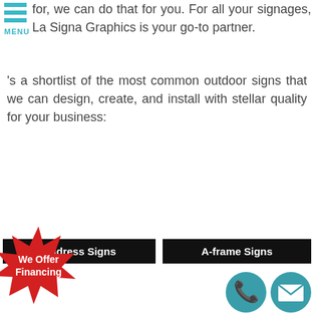[Figure (other): Teal hamburger menu icon with three horizontal bars and MENU label]
for, we can do that for you. For all your signages, La Signa Graphics is your go-to partner.
's a shortlist of the most common outdoor signs that we can design, create, and install with stellar quality for your business:
Address Signs
A-frame Signs
[Figure (other): Red starburst badge with white text 'We Offer Financing']
[Figure (other): Teal phone icon circle and teal email/envelope icon circle]